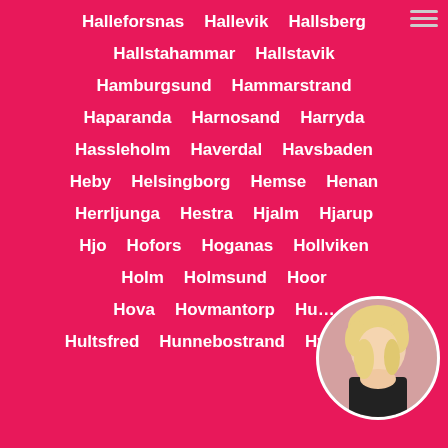Halleforsnas
Hallevik
Hallsberg
Hallstahammar
Hallstavik
Hamburgsund
Hammarstrand
Haparanda
Harnosand
Harryda
Hassleholm
Haverdal
Havsbaden
Heby
Helsingborg
Hemse
Henan
Herrljunga
Hestra
Hjalm
Hjarup
Hjo
Hofors
Hoganas
Hollviken
Holm
Holmsund
Hoor
Hova
Hovmantorp
Hu…
Hultsfred
Hunnebostrand
Hyltebruk
[Figure (photo): Circular profile photo of a blonde woman in black lingerie, positioned at bottom right]